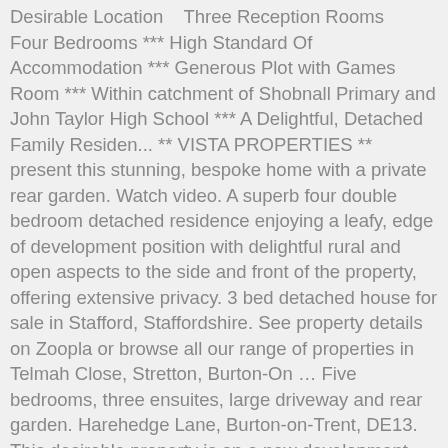Desirable Location   Three Reception Rooms   Four Bedrooms *** High Standard Of Accommodation *** Generous Plot with Games Room *** Within catchment of Shobnall Primary and John Taylor High School *** A Delightful, Detached Family Residen... ** VISTA PROPERTIES ** present this stunning, bespoke home with a private rear garden. Watch video. A superb four double bedroom detached residence enjoying a leafy, edge of development position with delightful rural and open aspects to the side and front of the property, offering extensive privacy. 3 bed detached house for sale in Stafford, Staffordshire. See property details on Zoopla or browse all our range of properties in Telmah Close, Stretton, Burton-On … Five bedrooms, three ensuites, large driveway and rear garden. Harehedge Lane, Burton-on-Trent, DE13. This desirable property is on a new development called Encore, located in the popular residential area of Brizlincote, near to Burton-upon-Trent. The Special Conditions of Sale are available to read in the legal pack. The average price of houses for sale in Nigeria is ₦65,000,000. A beautiful spacious home. 1-1 of 10. Find Houses for Sale in Swords